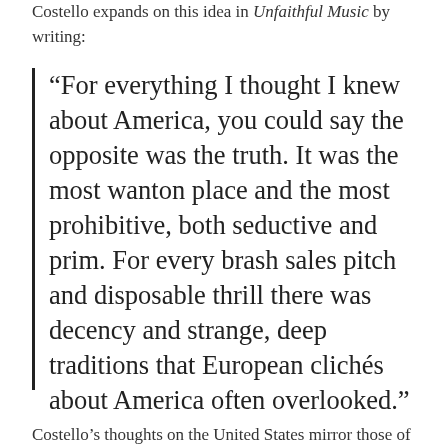Costello expands on this idea in Unfaithful Music by writing:
“For everything I thought I knew about America, you could say the opposite was the truth. It was the most wanton place and the most prohibitive, both seductive and prim. For every brash sales pitch and disposable thrill there was decency and strange, deep traditions that European clichés about America often overlooked.”
Costello’s thoughts on the United States mirror those of